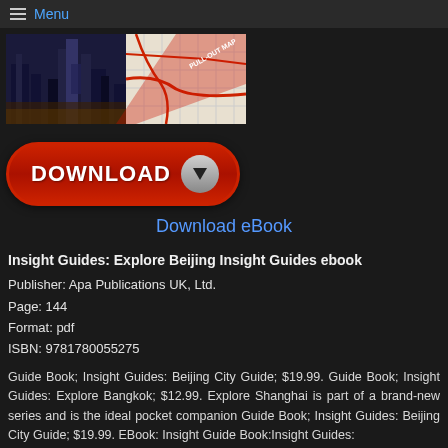Menu
[Figure (photo): Book cover image of Insight Guides: Explore Beijing, showing city skyline on left and a map on right]
[Figure (illustration): Red Download button with arrow icon]
Download eBook
Insight Guides: Explore Beijing Insight Guides ebook
Publisher: Apa Publications UK, Ltd.
Page: 144
Format: pdf
ISBN: 9781780055275
Guide Book; Insight Guides: Beijing City Guide; $19.99. Guide Book; Insight Guides: Explore Bangkok; $12.99. Explore Shanghai is part of a brand-new series and is the ideal pocket companion Guide Book; Insight Guides: Beijing City Guide; $19.99. EBook: Insight Guide Book:Insight Guides: